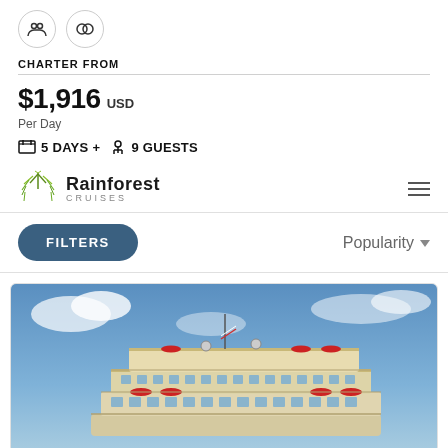CHARTER FROM
$1,916 USD Per Day
5 DAYS +   9 GUESTS
[Figure (logo): Rainforest Cruises logo with green starburst leaf icon and text 'Rainforest CRUISES']
FILTERS
Popularity
[Figure (photo): Photograph of a large multi-deck river cruise ship with cream/beige hull, red umbrellas on decks, against a blue cloudy sky]